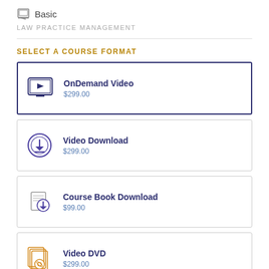Basic
LAW PRACTICE MANAGEMENT
SELECT A COURSE FORMAT
OnDemand Video $299.00
Video Download $299.00
Course Book Download $99.00
Video DVD $299.00